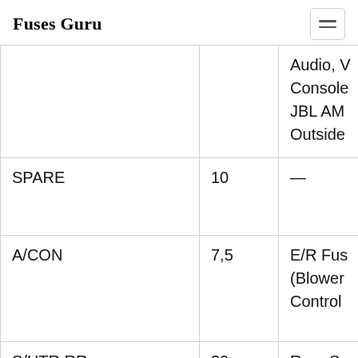Fuses Guru
| Name | Amperage | Description |
| --- | --- | --- |
|  |  | Audio, V
Console
JBL AM
Outside |
| SPARE | 10 | — |
| A/CON | 7,5 | E/R Fus
(Blower
Control |
| S/HTR RR | 20 | Rear Se
Switch |